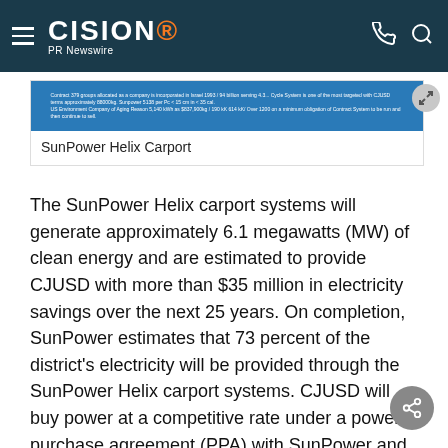CISION PR Newswire
[Figure (photo): SunPower Helix Carport image shown in a card with blue background and small white text]
SunPower Helix Carport
The SunPower Helix carport systems will generate approximately 6.1 megawatts (MW) of clean energy and are estimated to provide CJUSD with more than $35 million in electricity savings over the next 25 years. On completion, SunPower estimates that 73 percent of the district's electricity will be provided through the SunPower Helix carport systems. CJUSD will buy power at a competitive rate under a power purchase agreement (PPA) with SunPower and will own the renewable energy credits associated with